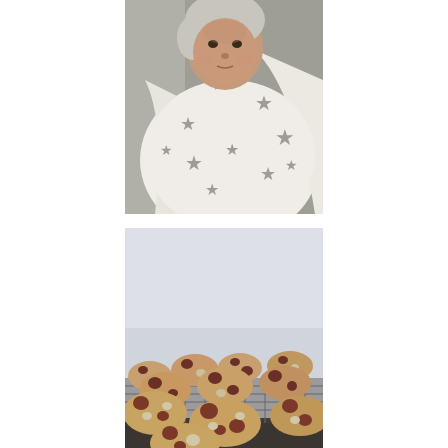[Figure (photo): A newborn baby swaddled in a white blanket with grey star pattern, face visible looking upward.]
[Figure (photo): A pile of chocolate chip and macadamia nut cookies on a cooling rack, with a light blue/grey background.]